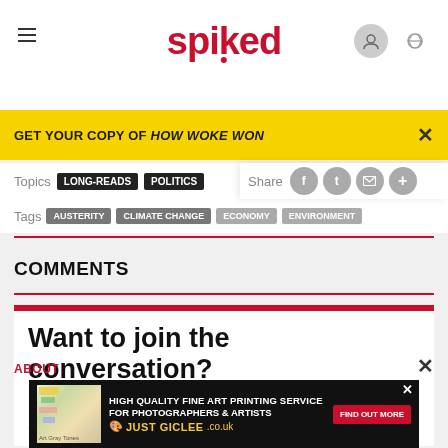spiked
GET YOUR COPY OF HOW WOKE WON
Topics  LONG-READS  POLITICS
Share
Tags  AUSTERITY  CLIMATE CHANGE  ECONOMY  ENVIRONMENT
COMMENTS
Want to join the conversation?
Only spiked supporters, who donate...
ABOUT
[Figure (screenshot): Advertisement banner: HIGH QUALITY FINE ART PRINTING SERVICE FOR PHOTOGRAPHERS & ARTISTS - JUST GICLEE]